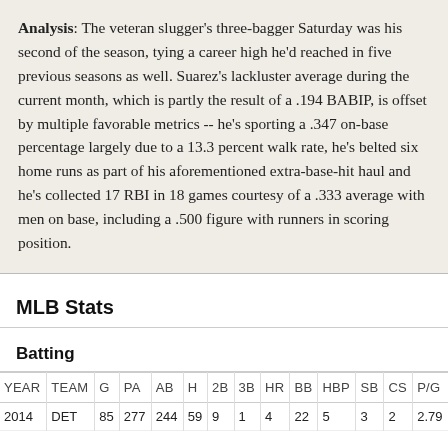Analysis: The veteran slugger's three-bagger Saturday was his second of the season, tying a career high he'd reached in five previous seasons as well. Suarez's lackluster average during the current month, which is partly the result of a .194 BABIP, is offset by multiple favorable metrics -- he's sporting a .347 on-base percentage largely due to a 13.3 percent walk rate, he's belted six home runs as part of his aforementioned extra-base-hit haul and he's collected 17 RBI in 18 games courtesy of a .333 average with men on base, including a .500 figure with runners in scoring position.
MLB Stats
Batting
| YEAR | TEAM | G | PA | AB | H | 2B | 3B | HR | BB | HBP | SB | CS | P/G |
| --- | --- | --- | --- | --- | --- | --- | --- | --- | --- | --- | --- | --- | --- |
| 2014 | DET | 85 | 277 | 244 | 59 | 9 | 1 | 4 | 22 | 5 | 3 | 2 | 2.79 |